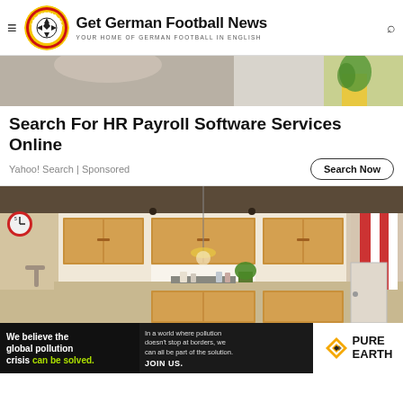Get German Football News — YOUR HOME OF GERMAN FOOTBALL IN ENGLISH
[Figure (photo): Top cropped image showing a person at a desk with a plant in the background]
Search For HR Payroll Software Services Online
Yahoo! Search | Sponsored
Search Now
[Figure (photo): Interior photo of a modern kitchen with wooden cabinets, recessed lighting, a sink with faucet, and kitchen appliances on the counter]
[Figure (infographic): Pure Earth advertisement banner: 'We believe the global pollution crisis can be solved. In a world where pollution doesn't stop at borders, we can all be part of the solution. JOIN US.' with Pure Earth logo]